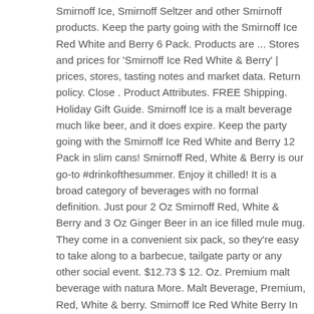Smirnoff Ice, Smirnoff Seltzer and other Smirnoff products. Keep the party going with the Smirnoff Ice Red White and Berry 6 Pack. Products are ... Stores and prices for 'Smirnoff Ice Red White & Berry' | prices, stores, tasting notes and market data. Return policy. Close . Product Attributes. FREE Shipping. Holiday Gift Guide. Smirnoff Ice is a malt beverage much like beer, and it does expire. Keep the party going with the Smirnoff Ice Red White and Berry 12 Pack in slim cans! Smirnoff Red, White & Berry is our go-to #drinkofthesummer. Enjoy it chilled! It is a broad category of beverages with no formal definition. Just pour 2 Oz Smirnoff Red, White & Berry and 3 Oz Ginger Beer in an ice filled mule mug. They come in a convenient six pack, so they're easy to take along to a barbecue, tailgate party or any other social event. $12.73 $ 12. Oz. Premium malt beverage with natura More. Malt Beverage, Premium, Red, White & berry. Smirnoff Ice Red White Berry In Bottles - 6-11.2 Fl. As anyone who follows our alcohol reviews on this… Calorie Goal 1,772 cal. Pick your size. Most Popular. Smirnoff Seltzer Red, White & Berry is as American as it gets. Limited Edition. Infused with cherry, citrus, and blue raspberry flavors, this spirit is a crowd pleaser. Pr ... Stores and prices for 'Smirnoff Ice Red White & Berry' | tasting notes, market data,